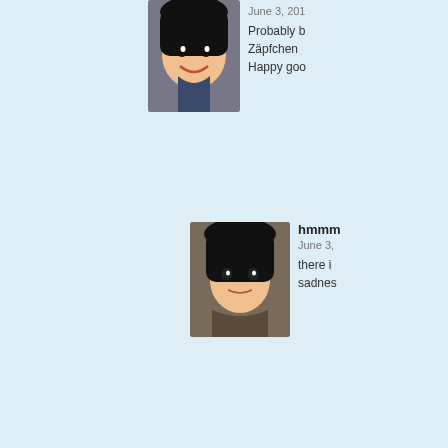[Figure (screenshot): Comment section of a blog or forum showing user avatars and partial comment text. Comments from users: (unnamed top), hmmm, Be*, EvergreenFir, Jen Aside. Background is light blue. Avatars are anime-style cartoon images.]
June 3, 201...
Probably b... Zäpfchen ... Happy goo...
hmmm
June 3, ...
there i... sadnes...
Be*
June...
No... Go... in a...
EvergreenFir
June 3, 2014 at 12:33 a...
That was actually a jo...
Jen Aside